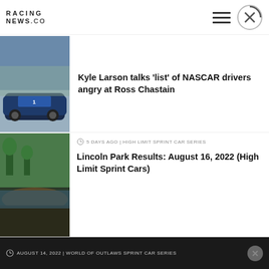RACING NEWS.CO
[Figure (photo): Blue NASCAR race car with number 1]
Kyle Larson talks ‘list’ of NASCAR drivers angry at Ross Chastain
[Figure (photo): Aerial view of dirt racing track with crowd]
5 DAYS AGO | HIGH LIMIT SPRINT CAR SERIES
Lincoln Park Results: August 16, 2022 (High Limit Sprint Cars)
AUGUST 14, 2022 | WORLD OF OUTLAWS SPRINT CAR SERIES